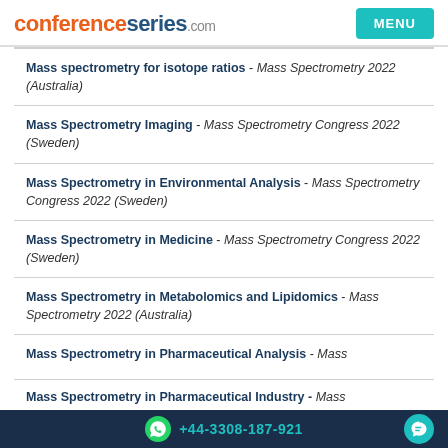conferenceseries.com MENU
Mass spectrometry for isotope ratios - Mass Spectrometry 2022 (Australia)
Mass Spectrometry Imaging - Mass Spectrometry Congress 2022 (Sweden)
Mass Spectrometry in Environmental Analysis - Mass Spectrometry Congress 2022 (Sweden)
Mass Spectrometry in Medicine - Mass Spectrometry Congress 2022 (Sweden)
Mass Spectrometry in Metabolomics and Lipidomics - Mass Spectrometry 2022 (Australia)
Mass Spectrometry in Pharmaceutical Analysis - Mass
Mass Spectrometry in Pharmaceutical Industry - Mass
+44-3308-187-921